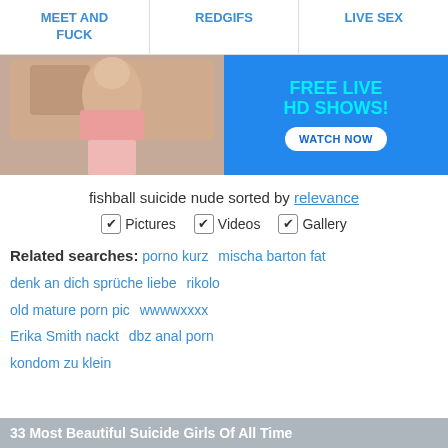MEET AND FUCK   REDGIFS   LIVE SEX
[Figure (photo): Advertisement banner with a woman in lingerie on the left and 'FREE LIVE HD SHOWS! WATCH NOW' on a blue background on the right]
fishball suicide nude sorted by relevance
✔ Pictures  ✔ Videos  ✔ Gallery
Related searches:  porno kurz   mischa barton fat  denk an dich sprüche liebe   rikolo  old mature porn pic   wwwwxxxx  Erika Smith nackt   dbz anal porn  kondom zu klein
33 Most Beautiful Suicide Girls Of All Time